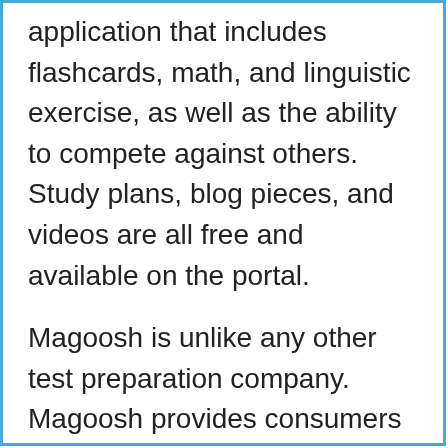application that includes flashcards, math, and linguistic exercise, as well as the ability to compete against others. Study plans, blog pieces, and videos are all free and available on the portal.
Magoosh is unlike any other test preparation company. Magoosh provides consumers an a la carte selection of video lessons, unlike more typical test prep organizations, which offer extensive curriculums that pursue a straight and well-developed course. Their video teaching is not organized in any way; instead, you are provided a